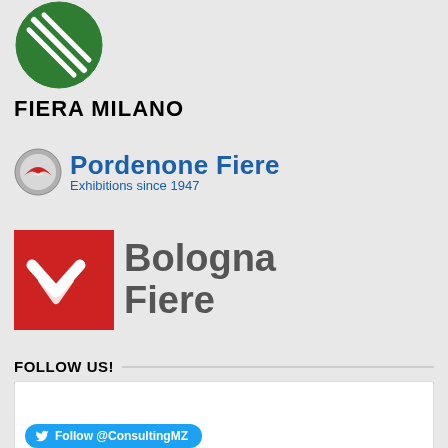[Figure (logo): Fiera Milano logo: green circle with white diagonal lines, followed by bold black text 'FIERA MILANO']
[Figure (logo): Pordenone Fiere logo: circular metallic emblem on the left, blue bold text 'Pordenone Fiere' and tagline 'Exhibitions since 1947']
[Figure (logo): Bologna Fiere logo: red square with white chevron/arrow marks on the left, gray bold text 'Bologna Fiere']
FOLLOW US!
[Figure (screenshot): White box social media follow widget with a blue Twitter Follow button at the bottom reading 'Follow @ConsultingMZ']